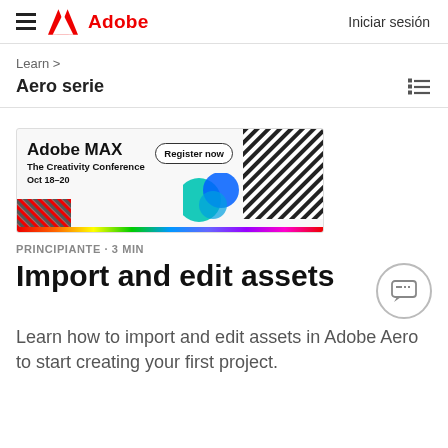Adobe | Iniciar sesión
Learn >
Aero serie
[Figure (screenshot): Adobe MAX – The Creativity Conference banner ad. Text: 'Adobe MAX The Creativity Conference Oct 18–20' with a 'Register now' button. Features colorful circles, diagonal hatch patterns, and a rainbow gradient bar at the bottom.]
PRINCIPIANTE · 3 MIN
Import and edit assets
Learn how to import and edit assets in Adobe Aero to start creating your first project.